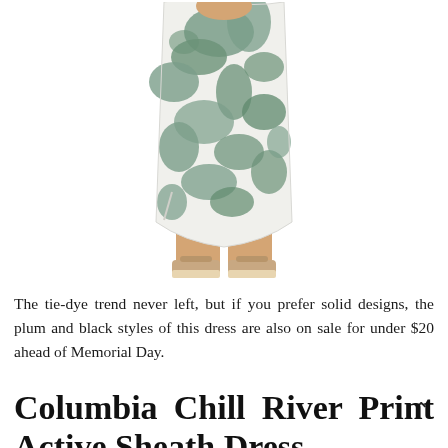[Figure (photo): A woman model wearing a tie-dye print midi sheath dress in green and white pattern, with a side slit, paired with tan wedge sandals. Only the body from shoulders to feet is visible.]
The tie-dye trend never left, but if you prefer solid designs, the plum and black styles of this dress are also on sale for under $20 ahead of Memorial Day.
Columbia Chill River Print Active Sheath Dress